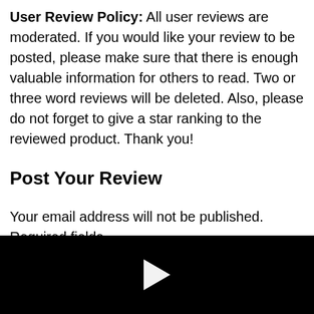User Review Policy: All user reviews are moderated. If you would like your review to be posted, please make sure that there is enough valuable information for others to read. Two or three word reviews will be deleted. Also, please do not forget to give a star ranking to the reviewed product. Thank you!
Post Your Review
Your email address will not be published. Required fields
[Figure (other): Black video player area with a white play button triangle in the center]